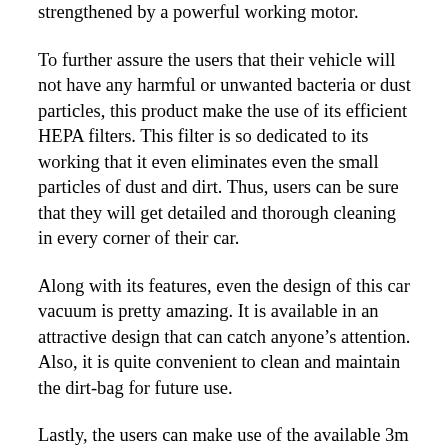strengthened by a powerful working motor.
To further assure the users that their vehicle will not have any harmful or unwanted bacteria or dust particles, this product make the use of its efficient HEPA filters. This filter is so dedicated to its working that it even eliminates even the small particles of dust and dirt. Thus, users can be sure that they will get detailed and thorough cleaning in every corner of their car.
Along with its features, even the design of this car vacuum is pretty amazing. It is available in an attractive design that can catch anyone’s attention. Also, it is quite convenient to clean and maintain the dirt-bag for future use.
Lastly, the users can make use of the available 3m cord length to get the needed flexibility for convenient and